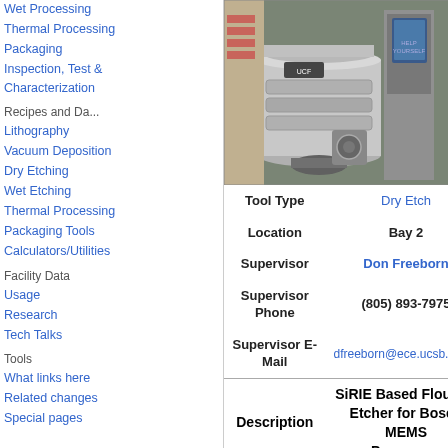Wet Processing
Thermal Processing
Packaging
Inspection, Test & Characterization
Recipes and Da...
Lithography
Vacuum Deposition
Dry Etching
Wet Etching
Thermal Processing
Packaging Tools
Calculators/Utilities
Facility Data
Usage
Research
Tech Talks
Tools
What links here
Related changes
Special pages
[Figure (photo): Laboratory equipment photo showing a vacuum/etching chamber system with metal cylindrical components and a computer monitor in the background]
| Field | Value |
| --- | --- |
| Tool Type | Dry Etch |
| Location | Bay 2 |
| Supervisor | Don Freeborn |
| Supervisor Phone | (805) 893-7975 |
| Supervisor E-Mail | dfreeborn@ece.ucsb.edu |
| Description | SiRIE Based Flourine Etcher for Bosch MEMS Processes |
| Manufacturer | Plasmatherm (Unaxis) |